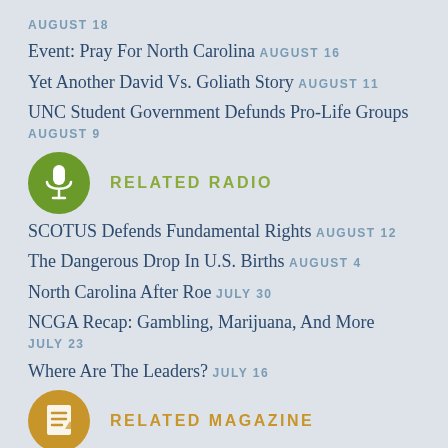AUGUST 18
Event: Pray For North Carolina AUGUST 16
Yet Another David Vs. Goliath Story AUGUST 11
UNC Student Government Defunds Pro-Life Groups AUGUST 9
RELATED RADIO
SCOTUS Defends Fundamental Rights AUGUST 12
The Dangerous Drop In U.S. Births AUGUST 4
North Carolina After Roe JULY 30
NCGA Recap: Gambling, Marijuana, And More JULY 23
Where Are The Leaders? JULY 16
RELATED MAGAZINE